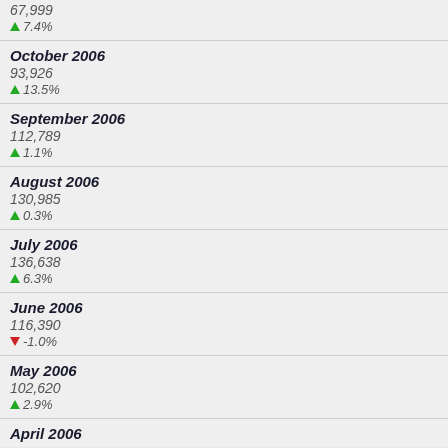67,999 ▲ 7.4%
October 2006 93,926 ▲ 13.5%
September 2006 112,789 ▲ 1.1%
August 2006 130,985 ▲ 0.3%
July 2006 136,638 ▲ 6.3%
June 2006 116,390 ▼ -1.0%
May 2006 102,620 ▲ 2.9%
April 2006 (partial)